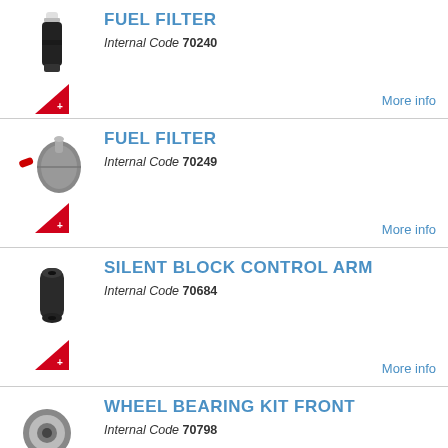[Figure (photo): Fuel filter cylindrical black product photo with Swiss flag badge below]
FUEL FILTER
Internal Code 70240
More info
[Figure (photo): Fuel filter metallic canister product photo with Swiss flag badge below]
FUEL FILTER
Internal Code 70249
More info
[Figure (photo): Silent block control arm rubber bushing product photo with Swiss flag badge below]
SILENT BLOCK CONTROL ARM
Internal Code 70684
More info
[Figure (photo): Wheel bearing kit front product photo with Swiss flag badge below]
WHEEL BEARING KIT FRONT
Internal Code 70798
More info